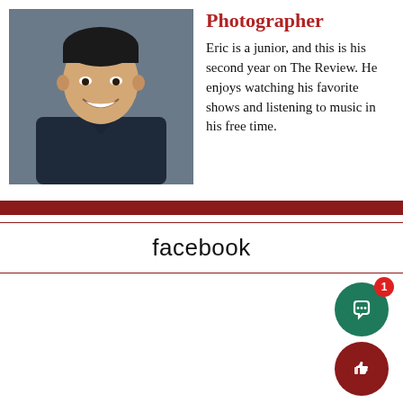[Figure (photo): Headshot photo of a young Asian man smiling, wearing a navy blue polo shirt, against a gray background]
Photographer
Eric is a junior, and this is his second year on The Review. He enjoys watching his favorite shows and listening to music in his free time.
facebook
[Figure (other): Green circular chat button with speech bubble icon and a red notification badge showing '1', and a dark red circular thumbs-up button below it]